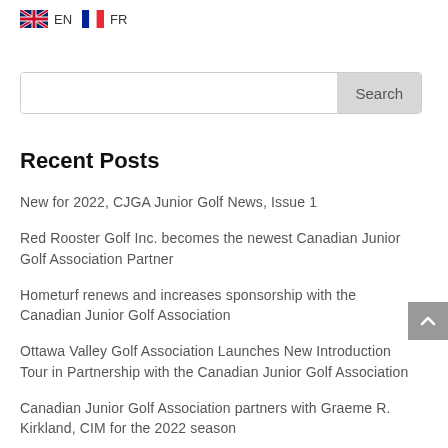EN FR
Recent Posts
New for 2022, CJGA Junior Golf News, Issue 1
Red Rooster Golf Inc. becomes the newest Canadian Junior Golf Association Partner
Hometurf renews and increases sponsorship with the Canadian Junior Golf Association
Ottawa Valley Golf Association Launches New Introduction Tour in Partnership with the Canadian Junior Golf Association
Canadian Junior Golf Association partners with Graeme R. Kirkland, CIM for the 2022 season